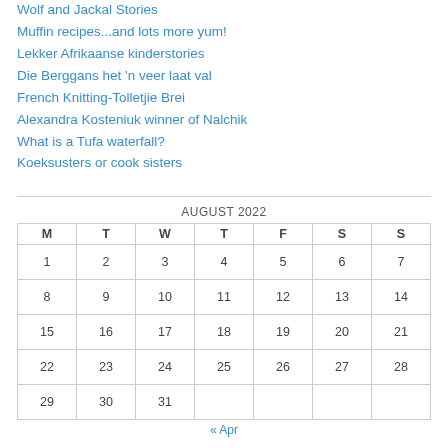Wolf and Jackal Stories
Muffin recipes...and lots more yum!
Lekker Afrikaanse kinderstories
Die Berggans het 'n veer laat val
French Knitting-Tolletjie Brei
Alexandra Kosteniuk winner of Nalchik
What is a Tufa waterfall?
Koeksusters or cook sisters
AUGUST 2022
| M | T | W | T | F | S | S |
| --- | --- | --- | --- | --- | --- | --- |
| 1 | 2 | 3 | 4 | 5 | 6 | 7 |
| 8 | 9 | 10 | 11 | 12 | 13 | 14 |
| 15 | 16 | 17 | 18 | 19 | 20 | 21 |
| 22 | 23 | 24 | 25 | 26 | 27 | 28 |
| 29 | 30 | 31 |  |  |  |  |
« Apr